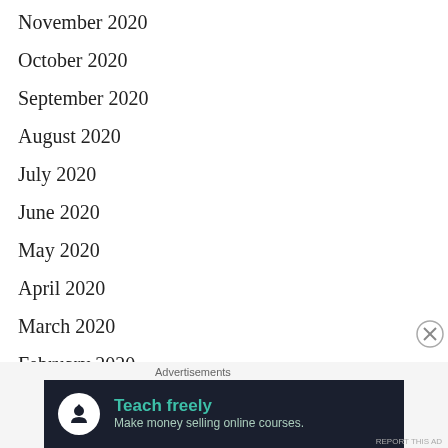November 2020
October 2020
September 2020
August 2020
July 2020
June 2020
May 2020
April 2020
March 2020
February 2020
[Figure (infographic): Advertisement banner for online course platform: dark navy background, circular white icon with person/upload symbol, teal headline 'Teach freely', light subtext 'Make money selling online courses.']
Advertisements